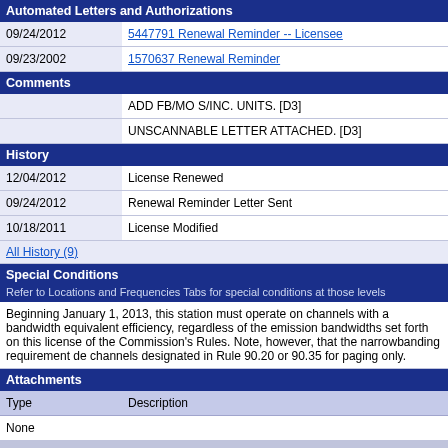Automated Letters and Authorizations
| Date | Document |
| --- | --- |
| 09/24/2012 | 5447791 Renewal Reminder -- Licensee |
| 09/23/2002 | 1570637 Renewal Reminder |
Comments
|  | ADD FB/MO S/INC. UNITS. [D3] |
|  | UNSCANNABLE LETTER ATTACHED. [D3] |
History
| 12/04/2012 | License Renewed |
| 09/24/2012 | Renewal Reminder Letter Sent |
| 10/18/2011 | License Modified |
All History (9)
Special Conditions
Refer to Locations and Frequencies Tabs for special conditions at those levels
Beginning January 1, 2013, this station must operate on channels with a bandwidth equivalent efficiency, regardless of the emission bandwidths set forth on this license of the Commission's Rules. Note, however, that the narrowbanding requirement designates channels designated in Rule 90.20 or 90.35 for paging only.
Attachments
| Type | Description |
| --- | --- |
| None |  |
ULS Help | ULS Glossary - FAQ - Online Help - Technical Support - Licensing Support